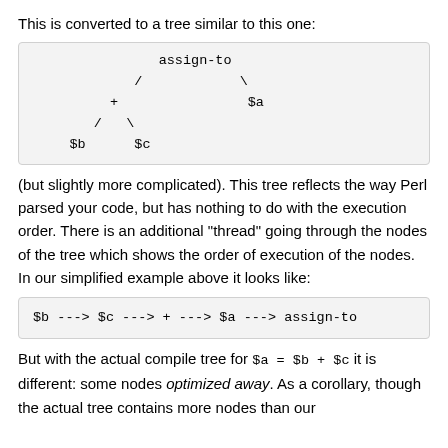This is converted to a tree similar to this one:
[Figure (illustration): ASCII-art tree diagram showing assign-to as root, with right child $a and left child + which itself has left child $b and right child $c]
(but slightly more complicated). This tree reflects the way Perl parsed your code, but has nothing to do with the execution order. There is an additional "thread" going through the nodes of the tree which shows the order of execution of the nodes. In our simplified example above it looks like:
[Figure (illustration): Code box showing: $b ---> $c ---> + ---> $a ---> assign-to]
But with the actual compile tree for $a = $b + $c it is different: some nodes optimized away. As a corollary, though the actual tree contains more nodes than our